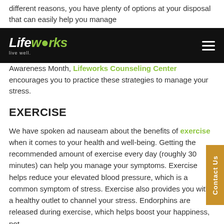different reasons, you have plenty of options at your disposal that can easily help you manage
Lifeworks — live well. [navigation bar]
Awareness Month, Lifeworks Counseling Center encourages you to practice these strategies to manage your stress.
EXERCISE
We have spoken ad nauseam about the benefits of exercise when it comes to your health and well-being. Getting the recommended amount of exercise every day (roughly 30 minutes) can help you manage your symptoms. Exercise helps reduce your elevated blood pressure, which is a common symptom of stress. Exercise also provides you with a healthy outlet to channel your stress. Endorphins are released during exercise, which helps boost your happiness, not